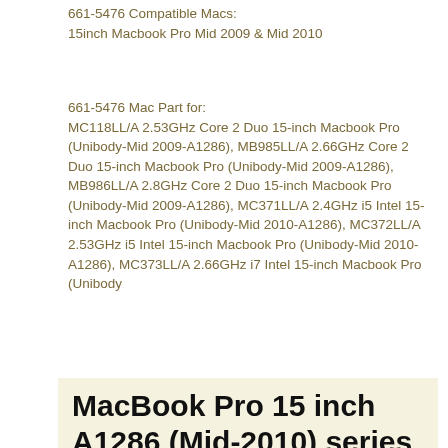661-5476 Compatible Macs:
15inch Macbook Pro Mid 2009 & Mid 2010
661-5476 Mac Part for:
MC118LL/A 2.53GHz Core 2 Duo 15-inch Macbook Pro (Unibody-Mid 2009-A1286), MB985LL/A 2.66GHz Core 2 Duo 15-inch Macbook Pro (Unibody-Mid 2009-A1286), MB986LL/A 2.8GHz Core 2 Duo 15-inch Macbook Pro (Unibody-Mid 2009-A1286), MC371LL/A 2.4GHz i5 Intel 15-inch Macbook Pro (Unibody-Mid 2010-A1286), MC372LL/A 2.53GHz i5 Intel 15-inch Macbook Pro (Unibody-Mid 2010-A1286), MC373LL/A 2.66GHz i7 Intel 15-inch Macbook Pro (Unibody
MacBook Pro 15 inch A1286 (Mid-2010) series Batería Sustituye Los Siguientes Tipos:
Reemplazo para APPLE
A1321,  661 5476,  661 5211,  020 6766 B,  020 6380 A,